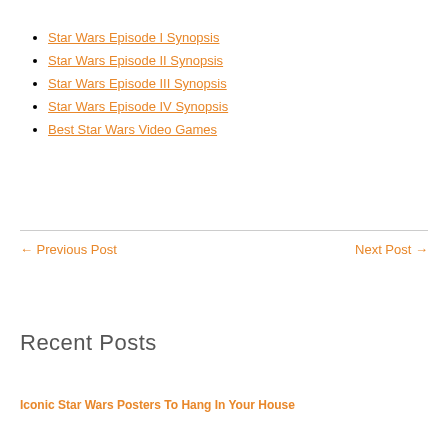Star Wars Episode I Synopsis
Star Wars Episode II Synopsis
Star Wars Episode III Synopsis
Star Wars Episode IV Synopsis
Best Star Wars Video Games
← Previous Post    Next Post →
Recent Posts
Iconic Star Wars Posters To Hang In Your House